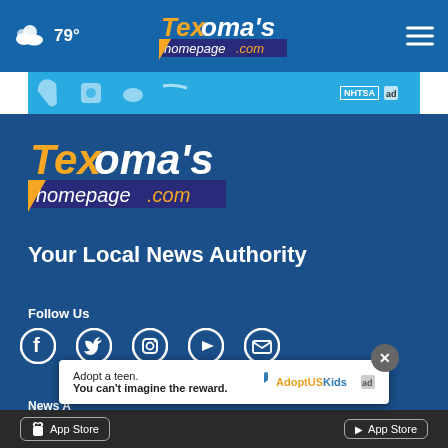79° Texoma's homepage.com
[Figure (screenshot): Ad banner with NHTSA and ad choice logos on light blue background]
[Figure (logo): Texoma's homepage.com logo - large version in main content area]
Your Local News Authority
Follow Us
[Figure (infographic): Social media icons: Facebook, Twitter, Instagram, YouTube, Email]
News App Store
[Figure (infographic): Ad popup: Adopt a teen. You can't imagine the reward. AdoptUSKids logo, ad choice icon]